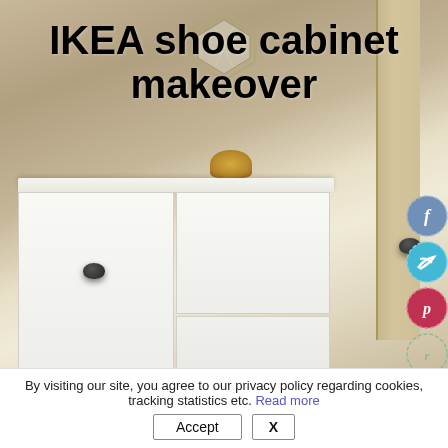[Figure (photo): IKEA shoe cabinet makeover photo: a white IKEA shoe cabinet with dark round knobs, set against a beige/tan wall, with geometric wall decor (hexagon mirrors) visible above and a door to the right. A gold decorative object sits on top of the cabinet. Bold title text overlays the top portion: 'IKEA shoe cabinet makeover'. Social media share icons (Facebook, Twitter, Pinterest, Bloglovin) are stacked vertically along the right edge.]
IKEA shoe cabinet makeover
By visiting our site, you agree to our privacy policy regarding cookies, tracking statistics etc. Read more
Accept
X